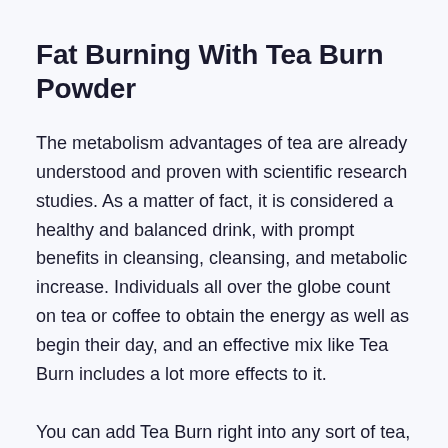Fat Burning With Tea Burn Powder
The metabolism advantages of tea are already understood and proven with scientific research studies. As a matter of fact, it is considered a healthy and balanced drink, with prompt benefits in cleansing, cleansing, and metabolic increase. Individuals all over the globe count on tea or coffee to obtain the energy as well as begin their day, and an effective mix like Tea Burn includes a lot more effects to it.
You can add Tea Burn right into any sort of tea, or coffee, as per your personal preferences. It can